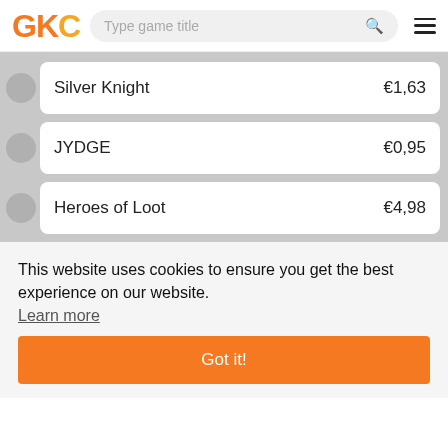GKC — Type game title
Silver Knight €1,63
JYDGE €0,95
Heroes of Loot €4,98
This website uses cookies to ensure you get the best experience on our website. Learn more
Got it!